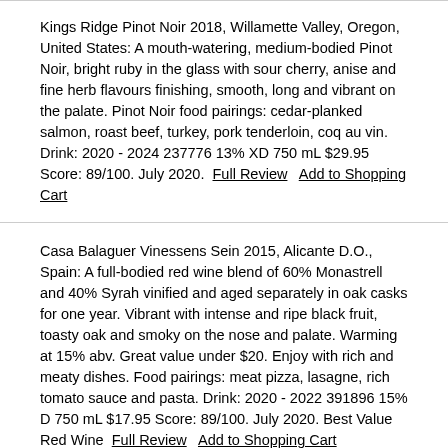Kings Ridge Pinot Noir 2018, Willamette Valley, Oregon, United States: A mouth-watering, medium-bodied Pinot Noir, bright ruby in the glass with sour cherry, anise and fine herb flavours finishing, smooth, long and vibrant on the palate. Pinot Noir food pairings: cedar-planked salmon, roast beef, turkey, pork tenderloin, coq au vin. Drink: 2020 - 2024 237776 13% XD 750 mL $29.95 Score: 89/100. July 2020. Full Review  Add to Shopping Cart
Casa Balaguer Vinessens Sein 2015, Alicante D.O., Spain: A full-bodied red wine blend of 60% Monastrell and 40% Syrah vinified and aged separately in oak casks for one year. Vibrant with intense and ripe black fruit, toasty oak and smoky on the nose and palate. Warming at 15% abv. Great value under $20. Enjoy with rich and meaty dishes. Food pairings: meat pizza, lasagne, rich tomato sauce and pasta. Drink: 2020 - 2022 391896 15% D 750 mL $17.95 Score: 89/100. July 2020. Best Value Red Wine  Full Review  Add to Shopping Cart
Tormaresca Torcicoda Primitivo 2017, Salento I.G.T., Italy: